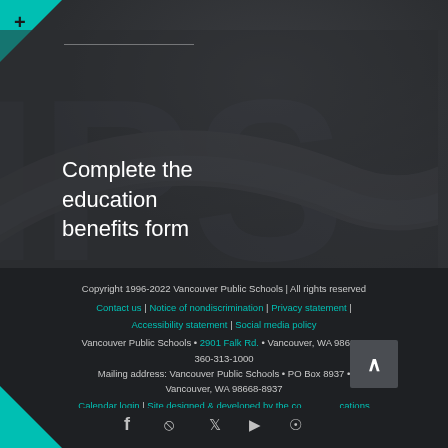[Figure (illustration): Dark background section with large stylized letters 'IPS' and a curved ribbon/swoosh graphic, with teal triangle in top-left corner and a plus symbol]
Complete the education benefits form
Copyright 1996-2022 Vancouver Public Schools | All rights reserved
Contact us | Notice of nondiscrimination | Privacy statement |
Accessibility statement | Social media policy
Vancouver Public Schools • 2901 Falk Rd. • Vancouver, WA 98661 •
360-313-1000
Mailing address: Vancouver Public Schools • PO Box 8937 •
Vancouver, WA 98668-8937
Calendar login | Site designed & developed by the communications office